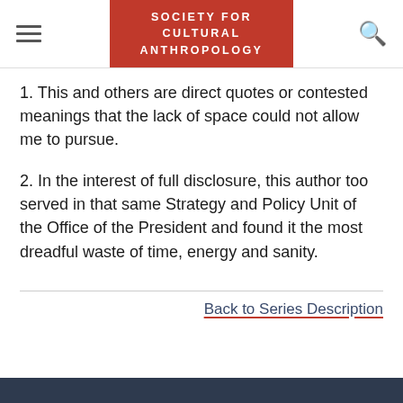SOCIETY FOR CULTURAL ANTHROPOLOGY
1. This and others are direct quotes or contested meanings that the lack of space could not allow me to pursue.
2. In the interest of full disclosure, this author too served in that same Strategy and Policy Unit of the Office of the President and found it the most dreadful waste of time, energy and sanity.
Back to Series Description